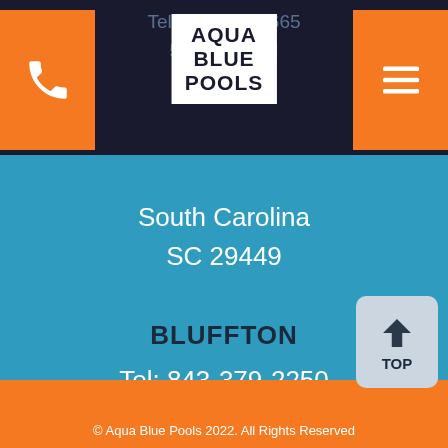Tel: 843-767-7665  519... Rd  Hollyw...
[Figure (logo): Aqua Blue Pools logo - white box with bold stacked text AQUA BLUE POOLS]
South Carolina
SC 29449
BLUFFTON
Tel: 843-379-2250
40 Persimmon St.,
Bluffton,
SC 29910
© Aqua Blue Pools 2022. All Rights Reserved